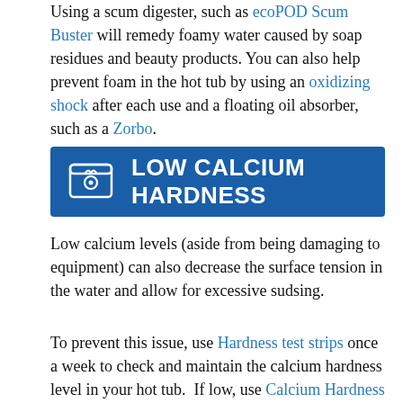Using a scum digester, such as ecoPOD Scum Buster will remedy foamy water caused by soap residues and beauty products. You can also help prevent foam in the hot tub by using an oxidizing shock after each use and a floating oil absorber, such as a Zorbo.
LOW CALCIUM HARDNESS
Low calcium levels (aside from being damaging to equipment) can also decrease the surface tension in the water and allow for excessive sudsing.
To prevent this issue, use Hardness test strips once a week to check and maintain the calcium hardness level in your hot tub.  If low, use Calcium Hardness Booster.